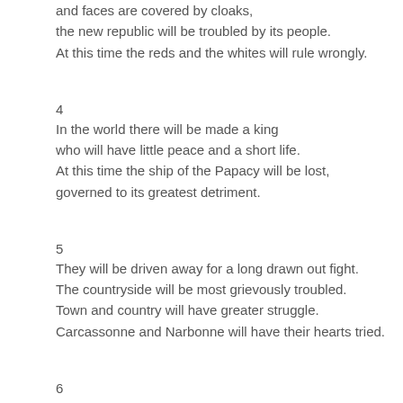and faces are covered by cloaks,
the new republic will be troubled by its people.
At this time the reds and the whites will rule wrongly.
4
In the world there will be made a king
who will have little peace and a short life.
At this time the ship of the Papacy will be lost,
governed to its greatest detriment.
5
They will be driven away for a long drawn out fight.
The countryside will be most grievously troubled.
Town and country will have greater struggle.
Carcassonne and Narbonne will have their hearts tried.
6
The eye of Ravenna will be forsaken,
when his wings will fail at his feet.
The two of Bresse will have made a constitution
for Turin and Vercelli, which the French will trample underfoot
7
Arrived too late, the act has been done.